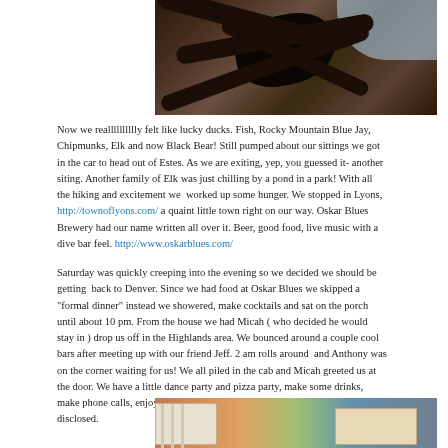[Figure (photo): Black bear in tree branches, close-up photo of dark bear among pine tree limbs with blue sky visible]
Now we realllllllllly felt like lucky ducks. Fish, Rocky Mountain Blue Jay, Chipmunks, Elk and now Black Bear! Still pumped about our sittings we got in the car to head out of Estes. As we are exiting, yep, you guessed it- another siting. Another family of Elk was just chilling by a pond in a park! With all the hiking and excitement we worked up some hunger. We stopped in Lyons, http://townoflyons.com/ a quaint little town right on our way. Oskar Blues Brewery had our name written all over it. Beer, good food, live music with a dive bar feel. http://www.oskarblues.com/
Saturday was quickly creeping into the evening so we decided we should be getting back to Denver. Since we had food at Oskar Blues we skipped a "formal dinner" instead we showered, make cocktails and sat on the porch until about 10 pm. From the house we had Micah ( who decided he would stay in ) drop us off in the Highlands area. We bounced around a couple cool bars after meeting up with our friend Jeff. 2 am rolls around and Anthony was on the corner waiting for us! We all piled in the cab and Micah greeted us at the door. We have a little dance party and pizza party, make some drinks, make phone calls, enjoy the porch and finally call it a night, time not to be disclosed.
[Figure (photo): Partial view of a house porch with white railings and colorful surroundings]